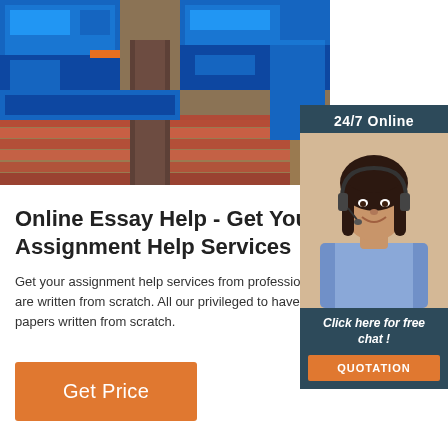[Figure (photo): Industrial machinery photo showing blue metal equipment and brown/brick-colored materials in a factory setting]
[Figure (photo): Customer service representative woman with headset smiling, with '24/7 Online' header, 'Click here for free chat!' text and orange QUOTATION button]
Online Essay Help - Get Your Assignment Help Services
Get your assignment help services from professional academic papers are written from scratch. All our privileged to have all their academic papers written from scratch.
Get Price